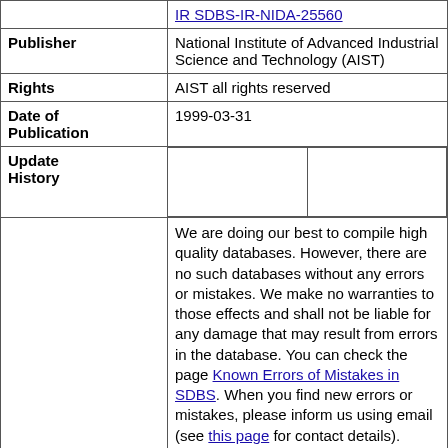| Field | Value |
| --- | --- |
|  | IR SDBS-IR-NIDA-25560 |
| Publisher | National Institute of Advanced Industrial Science and Technology (AIST) |
| Rights | AIST all rights reserved |
| Date of Publication | 1999-03-31 |
| Update History |  |
| Disclaimer | We are doing our best to compile high quality databases. However, there are no such databases without any errors or mistakes. We make no warranties to those effects and shall not be liable for any damage that may result from errors in the database. You can check the page Known Errors of Mistakes in SDBS. When you find new errors or mistakes, please inform us using email (see this page for contact details).
  Access to this database is free of charge. However we request visitors to our database not to download more than 50 spectra and/or compound information in one day. All accesses are recorded. It is prohibited that |